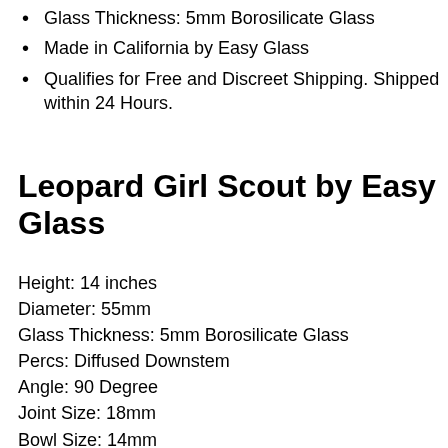Glass Thickness: 5mm Borosilicate Glass
Made in California by Easy Glass
Qualifies for Free and Discreet Shipping. Shipped within 24 Hours.
Leopard Girl Scout by Easy Glass
Height: 14 inches
Diameter: 55mm
Glass Thickness: 5mm Borosilicate Glass
Percs: Diffused Downstem
Angle: 90 Degree
Joint Size: 18mm
Bowl Size: 14mm
Downstem: 14/18mm lo pro diffused downstem
Made in the USA by Local Home Grown Glass Blowers.